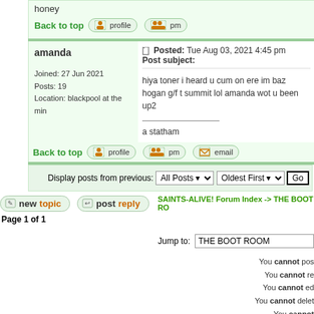honey
Back to top
amanda
Posted: Tue Aug 03, 2021 4:45 pm    Post subject:
Joined: 27 Jun 2021
Posts: 19
Location: blackpool at the min
hiya toner i heard u cum on ere im baz hogan g/f t summit lol amanda wot u been up2
a statham
Back to top
Display posts from previous:
SAINTS-ALIVE! Forum Index -> THE BOOT RO
Page 1 of 1
Jump to:   THE BOOT ROOM
You cannot pos
You cannot re
You cannot ed
You cannot delet
You cannot
Powered by phpBB 2.0.4 © 2001, 2002 phpBB Group
subGreen style by klauber